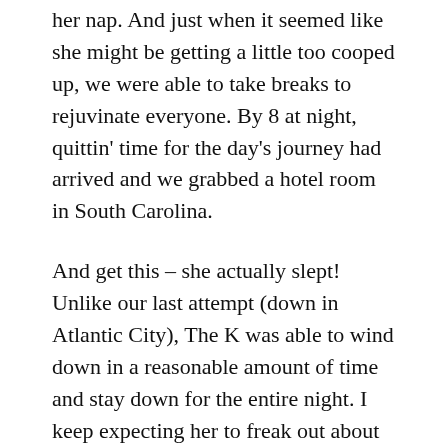her nap. And just when it seemed like she might be getting a little too cooped up, we were able to take breaks to rejuvinate everyone. By 8 at night, quittin' time for the day's journey had arrived and we grabbed a hotel room in South Carolina.
And get this – she actually slept! Unlike our last attempt (down in Atlantic City), The K was able to wind down in a reasonable amount of time and stay down for the entire night. I keep expecting her to freak out about going back in the car, but she seems to have caught on to the concept of travel and vacation.
Her excitement upon reaching out destination